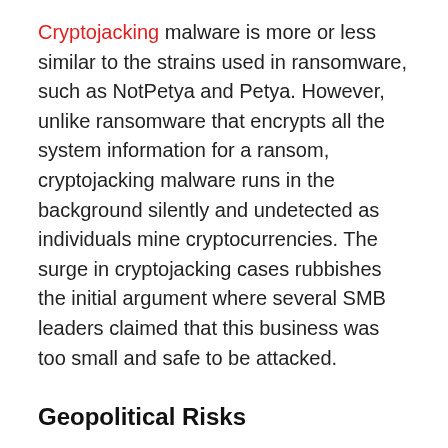Cryptojacking malware is more or less similar to the strains used in ransomware, such as NotPetya and Petya. However, unlike ransomware that encrypts all the system information for a ransom, cryptojacking malware runs in the background silently and undetected as individuals mine cryptocurrencies. The surge in cryptojacking cases rubbishes the initial argument where several SMB leaders claimed that this business was too small and safe to be attacked.
Geopolitical Risks
When migrating to cloud-based storage, companies and businesses should consider the